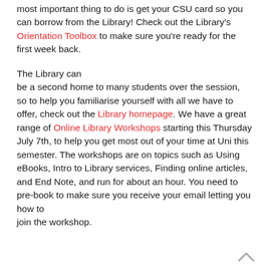most important thing to do is get your CSU card so you can borrow from the Library! Check out the Library's Orientation Toolbox to make sure you're ready for the first week back.
The Library can be a second home to many students over the session, so to help you familiarise yourself with all we have to offer, check out the Library homepage. We have a great range of Online Library Workshops starting this Thursday July 7th, to help you get most out of your time at Uni this semester. The workshops are on topics such as Using eBooks, Intro to Library services, Finding online articles, and End Note, and run for about an hour. You need to pre-book to make sure you receive your email letting you how to join the workshop.